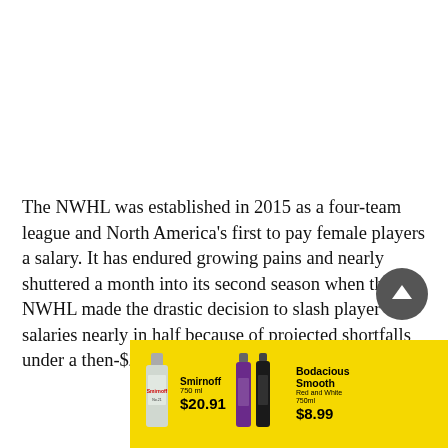The NWHL was established in 2015 as a four-team league and North America's first to pay female players a salary. It has endured growing pains and nearly shuttered a month into its second season when the NWHL made the drastic decision to slash player salaries nearly in half because of projected shortfalls under a then-$270,000 per team salary cap.
[Figure (other): Advertisement banner on yellow background showing Smirnoff vodka bottle priced at $20.91 and Bodacious Smooth Red and White 750ml wine bottle priced at $8.99]